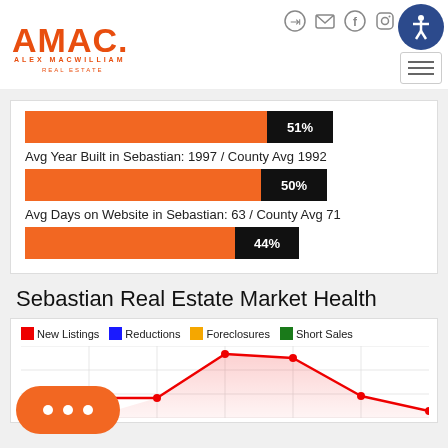[Figure (logo): AMAC Alex MacWilliam Real Estate logo in orange]
51%
Avg Year Built in Sebastian: 1997 / County Avg 1992
50%
Avg Days on Website in Sebastian: 63 / County Avg 71
44%
Sebastian Real Estate Market Health
[Figure (line-chart): Line chart showing Sebastian Real Estate Market Health with series: New Listings (red), Reductions (blue), Foreclosures (gold/orange), Short Sales (green). Partial chart visible at bottom of page.]